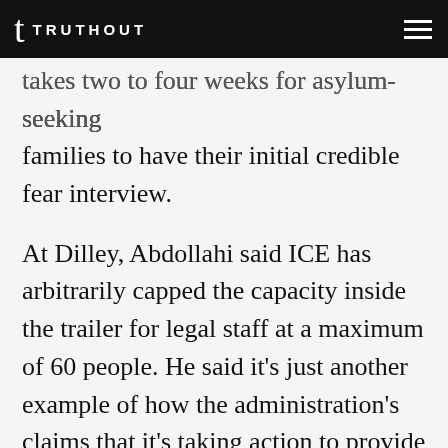TRUTHOUT
takes two to four weeks for asylum-seeking families to have their initial credible fear interview.
At Dilley, Abdollahi said ICE has arbitrarily capped the capacity inside the trailer for legal staff at a maximum of 60 people. He said it’s just another example of how the administration’s claims that it’s taking action to provide detainees with access to legal services are “a complete sham.”
He said medical services at there are also